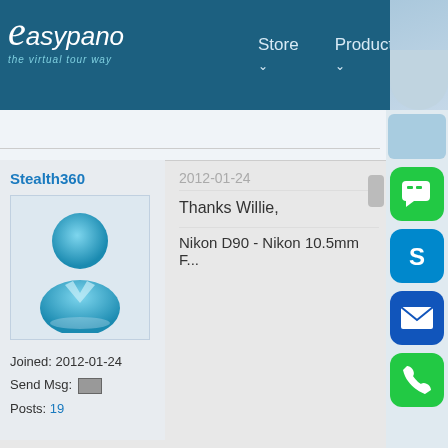Easypano - the virtual tour way | Store | Products | Downlo...
Stealth360
[Figure (illustration): Blue generic user avatar icon - a stylized person silhouette in blue tones]
Joined: 2012-01-24
Send Msg:
Posts: 19
2012-01-24
Thanks Willie,
Nikon D90 - Nikon 10.5mm F...
[Figure (screenshot): Sidebar social icons: green chat bubble, Skype blue icon, blue mail icon, green phone icon]